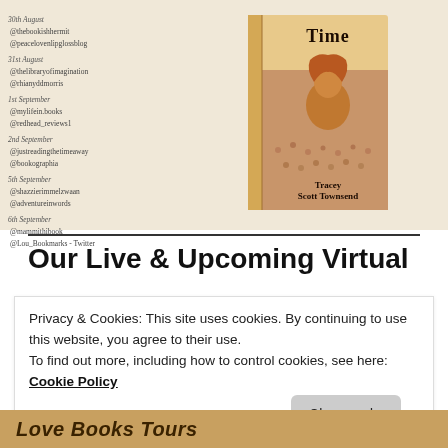[Figure (illustration): Blog tour schedule image with dates and social media handles on the left side and a book cover illustration on the right. Book cover shows 'Time' by Tracey Scott Townsend with a woman with red hair overlooking a crowd.]
Our Live & Upcoming Virtual
Privacy & Cookies: This site uses cookies. By continuing to use this website, you agree to their use. To find out more, including how to control cookies, see here: Cookie Policy
Close and accept
LOVE Books Tours